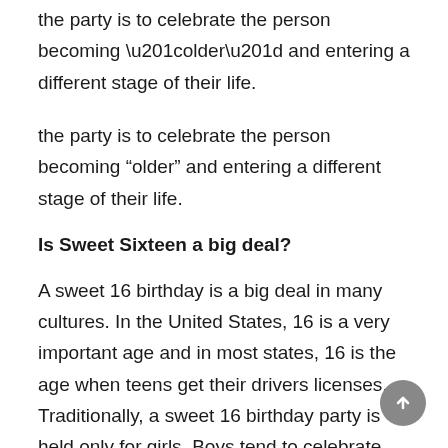the party is to celebrate the person becoming “older” and entering a different stage of their life.
Is Sweet Sixteen a big deal?
A sweet 16 birthday is a big deal in many cultures. In the United States, 16 is a very important age and in most states, 16 is the age when teens get their drivers licenses. Traditionally, a sweet 16 birthday party is held only for girls. Boys tend to celebrate with their friends on an informal basis.
How much is a DJ for a sweet 16?